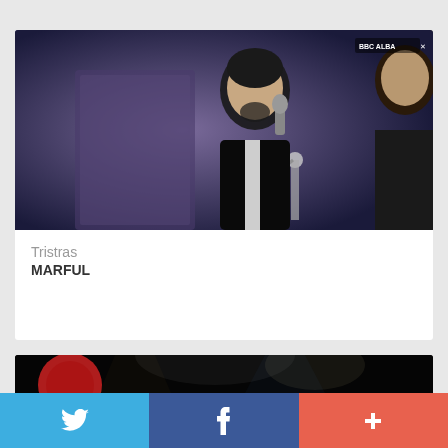[Figure (photo): A man with a beard singing or speaking into a microphone, wearing a dark jacket, in a studio setting with BBC ALBA watermark visible in the top right corner. Another person partially visible on the right.]
Tristras
MARFUL
[Figure (photo): Dark concert/performance scene with stage lighting, showing performers on a stage with a red circular logo/graphic visible in the upper left.]
Twitter | Facebook | +